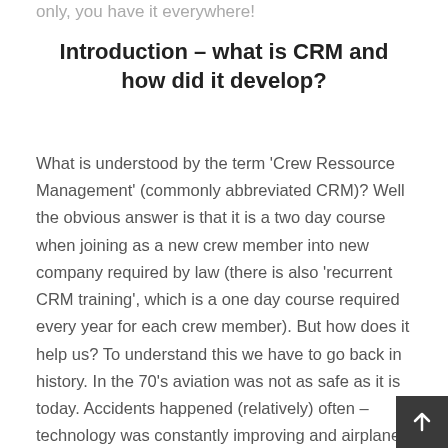only, you have it everywhere!
Introduction – what is CRM and how did it develop?
What is understood by the term 'Crew Ressource Management' (commonly abbreviated CRM)? Well the obvious answer is that it is a two day course when joining as a new crew member into new company required by law (there is also 'recurrent CRM training', which is a one day course required every year for each crew member). But how does it help us? To understand this we have to go back in history. In the 70's aviation was not as safe as it is today. Accidents happened (relatively) often – technology was constantly improving and airplanes were becoming safer. One thing that could not be improved by the engineers was the human mind – the people working and airplanes did something